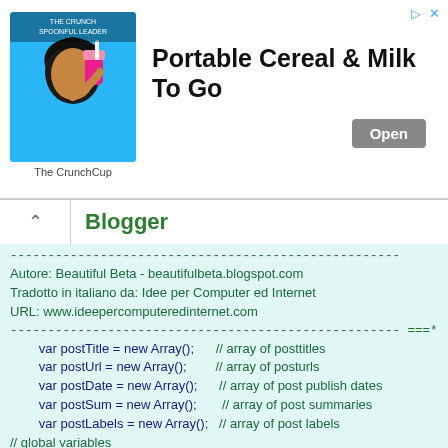[Figure (photo): Ad banner for The CrunchCup: woman drinking from a portable cereal container on a blue background, with text 'Portable Cereal & Milk To Go' and an 'Open' button]
Blogger
----------------------------------------------------
Autore: Beautiful Beta - beautifulbeta.blogspot.com
Tradotto in italiano da: Idee per Computer ed Internet
URL: www.ideepercomputeredinternet.com
---------------------------------------------------- ===*/
    var postTitle = new Array();      // array of posttitles
    var postUrl = new Array();        // array of posturls
    var postDate = new Array();       // array of post publish dates
    var postSum = new Array();        // array of post summaries
    var postLabels = new Array();    // array of post labels
// global variables
    var sortBy = "datenewest";        // default value for sorting ToC
    var tocLoaded = false;       // true if feed is read and ToC can be displayed